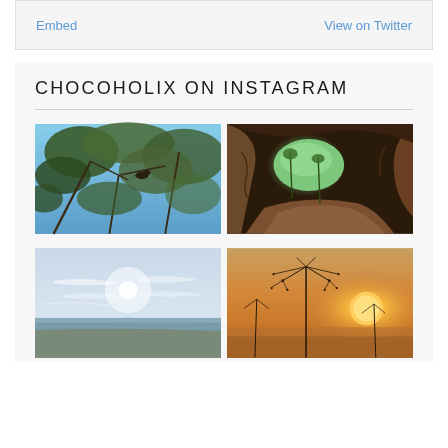Embed   View on Twitter
CHOCOHOLIX ON INSTAGRAM
[Figure (photo): Bird perched on tree branches against a blue sky]
[Figure (photo): View from inside a cave opening looking out to green trees]
[Figure (photo): Flat water landscape with bright sun and wispy clouds]
[Figure (photo): Frosted plant silhouette against a warm golden sunset]